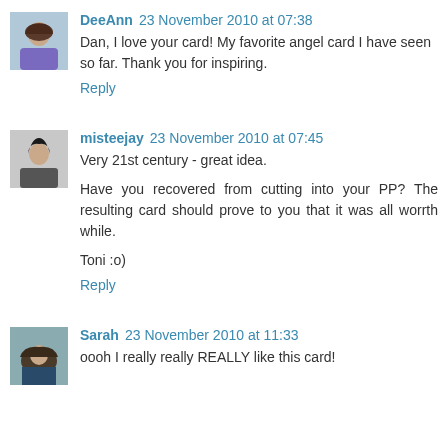[Figure (photo): Small avatar photo of DeeAnn, female person with dark hair]
DeeAnn 23 November 2010 at 07:38
Dan, I love your card! My favorite angel card I have seen so far. Thank you for inspiring.
Reply
[Figure (photo): Small avatar photo of misteejay, female person]
misteejay 23 November 2010 at 07:45
Very 21st century - great idea.
Have you recovered from cutting into your PP? The resulting card should prove to you that it was all worrth while.
Toni :o)
Reply
[Figure (photo): Small avatar photo of Sarah, person outdoors]
Sarah 23 November 2010 at 11:33
oooh I really really REALLY like this card!